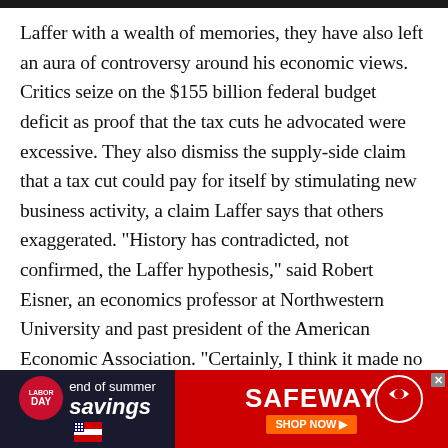Laffer with a wealth of memories, they have also left an aura of controversy around his economic views. Critics seize on the $155 billion federal budget deficit as proof that the tax cuts he advocated were excessive. They also dismiss the supply-side claim that a tax cut could pay for itself by stimulating new business activity, a claim Laffer says that others exaggerated. "History has contradicted, not confirmed, the Laffer hypothesis," said Robert Eisner, an economics professor at Northwestern University and past president of the American Economic Association. "Certainly, I think it made no contribution to professional economics." Lawrence Chimerine, chairman of the WEFA Group, an economic consulting firm in Bala-Cynwyd, Pa., said the tax cuts aggravated America's
[Figure (other): Safeway 'End of Summer Savings' advertisement banner at the bottom of the page, showing Labor Day branding on the left and Safeway logo with Shop Now button on the right.]